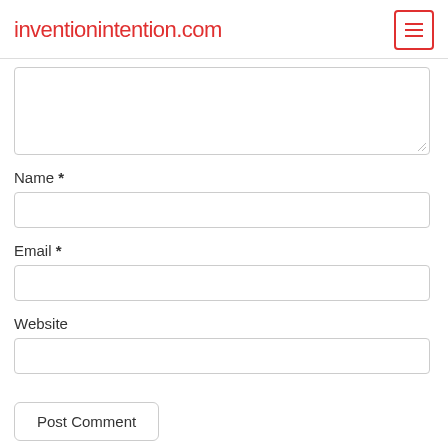inventionintention.com
[Figure (screenshot): Comment form textarea (partially visible at top), followed by Name, Email, Website input fields and Post Comment button]
Name *
Email *
Website
Post Comment